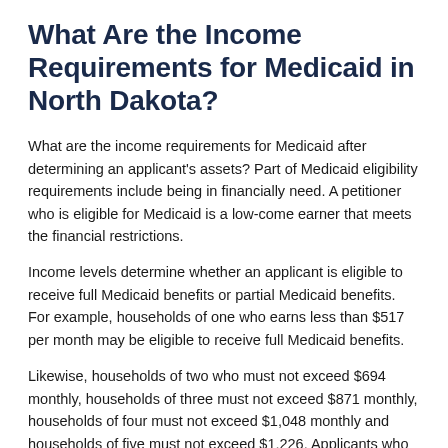What Are the Income Requirements for Medicaid in North Dakota?
What are the income requirements for Medicaid after determining an applicant's assets? Part of Medicaid eligibility requirements include being in financially need. A petitioner who is eligible for Medicaid is a low-come earner that meets the financial restrictions.
Income levels determine whether an applicant is eligible to receive full Medicaid benefits or partial Medicaid benefits. For example, households of one who earns less than $517 per month may be eligible to receive full Medicaid benefits.
Likewise, households of two who must not exceed $694 monthly, households of three must not exceed $871 monthly, households of four must not exceed $1,048 monthly and households of five must not exceed $1,226. Applicants who meet these Medicaid benefits eligibility